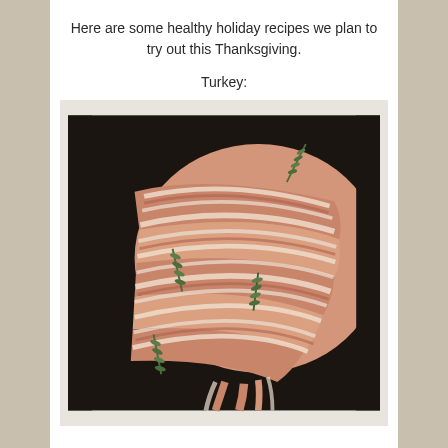Here are some healthy holiday recipes we plan to try out this Thanksgiving.
Turkey:
[Figure (photo): A raw turkey wrapped in bacon strips with sprigs of fresh rosemary/herbs, placed in a dark roasting pan.]